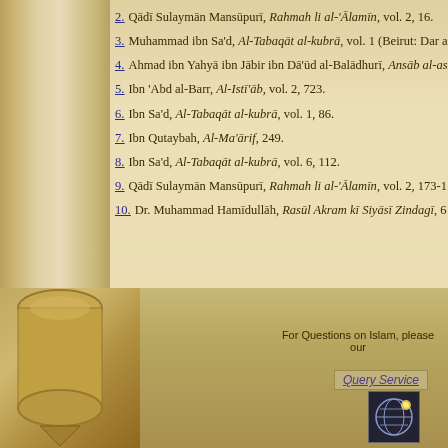2. Qādī Sulaymān Mansūpurī, Rahmah li al-'Ālamīn, vol. 2, 16.
3. Muhammad ibn Sa'd, Al-Tabaqāt al-kubrā, vol. 1 (Beirut: Dar a...
4. Ahmad ibn Yahyā ibn Jābir ibn Dā'ūd al-Balādhurī, Ansāb al-a...
5. Ibn 'Abd al-Barr, Al-Istī'āb, vol. 2, 723.
6. Ibn Sa'd, Al-Tabaqāt al-kubrā, vol. 1, 86.
7. Ibn Qutaybah, Al-Ma'ārif, 249.
8. Ibn Sa'd, Al-Tabaqāt al-kubrā, vol. 6, 112.
9. Qādī Sulaymān Mansūpurī, Rahmah li al-'Ālamīn, vol. 2, 173-1...
10. Dr. Muhammad Hamīdullāh, Rasūl Akram kī Siyāsī Zindagī, 6...
For Questions on Islam, please visit our Query Service